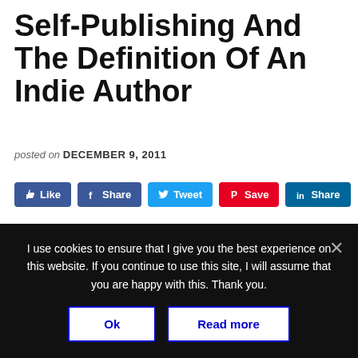Self-Publishing And The Definition Of An Indie Author
posted on DECEMBER 9, 2011
[Figure (infographic): Social media sharing buttons: Like (Facebook blue), Share (Facebook blue), Tweet (Twitter blue), Save (Pinterest red), Share (LinkedIn dark blue)]
OLD POST ALERT! This is an older post and although you might find some useful
I use cookies to ensure that I give you the best experience on this website. If you continue to use this site, I will assume that you are happy with this. Thank you.
Ok
Read more